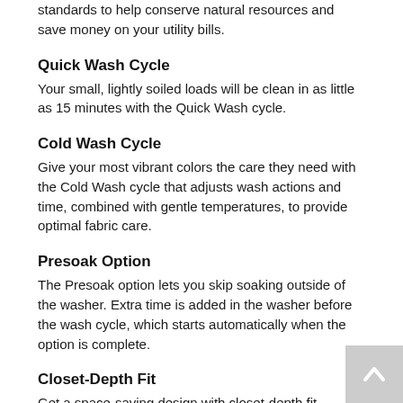standards to help conserve natural resources and save money on your utility bills.
Quick Wash Cycle
Your small, lightly soiled loads will be clean in as little as 15 minutes with the Quick Wash cycle.
Cold Wash Cycle
Give your most vibrant colors the care they need with the Cold Wash cycle that adjusts wash actions and time, combined with gentle temperatures, to provide optimal fabric care.
Presoak Option
The Presoak option lets you skip soaking outside of the washer. Extra time is added in the washer before the wash cycle, which starts automatically when the option is complete.
Closet-Depth Fit
Get a space-saving design with closet-depth fit
Smooth Wave Stainless Steel Wash Basket
Give clothes the care they need with the sleek pattern of the stainless steel wash basket that gently guides them.